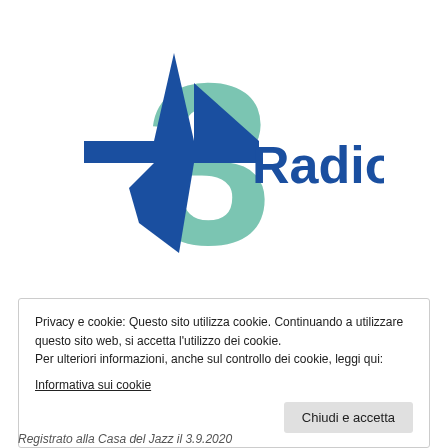[Figure (logo): RAI Radio 3 logo: blue cross/star shape on the left, large mint/teal '3' numeral in the background, with bold blue 'Radio' text overlaid on the right]
Privacy e cookie: Questo sito utilizza cookie. Continuando a utilizzare questo sito web, si accetta l'utilizzo dei cookie. Per ulteriori informazioni, anche sul controllo dei cookie, leggi qui: Informativa sui cookie
Chiudi e accetta
Registrato alla Casa del Jazz il 3.9.2020